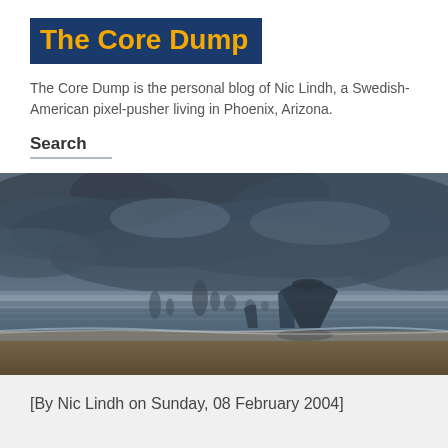The Core Dump
The Core Dump is the personal blog of Nic Lindh, a Swedish-American pixel-pusher living in Phoenix, Arizona.
Search
[Figure (photo): A moody coastal scene with dark storm clouds over the ocean, large rock formations (including Haystack Rock) visible on a wet sandy beach at low tide, mist and fog partially obscuring the rocks in the background.]
[By Nic Lindh on Sunday, 08 February 2004]